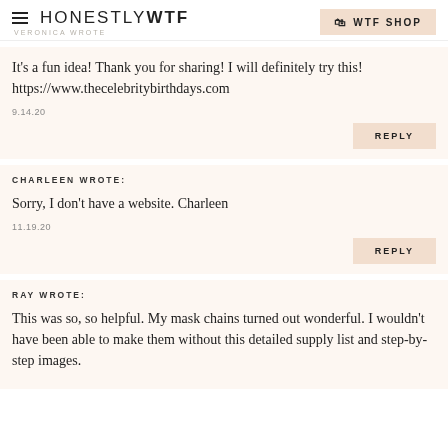HONESTLY WTF | WTF SHOP | VERONICA WROTE
It's a fun idea! Thank you for sharing! I will definitely try this!
https://www.thecelebritybirthdays.com
9.14.20
CHARLEEN WROTE:
Sorry, I don't have a website. Charleen
11.19.20
RAY WROTE:
This was so, so helpful. My mask chains turned out wonderful. I wouldn't have been able to make them without this detailed supply list and step-by-step images. Thank you so much.